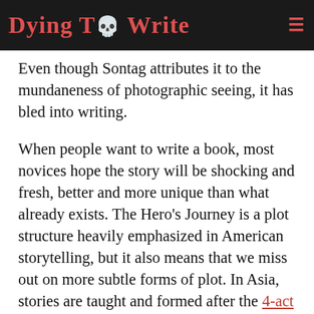Dying to Write
Even though Sontag attributes it to the mundaneness of photographic seeing, it has bled into writing.
When people want to write a book, most novices hope the story will be shocking and fresh, better and more unique than what already exists. The Hero's Journey is a plot structure heavily emphasized in American storytelling, but it also means that we miss out on more subtle forms of plot. In Asia, stories are taught and formed after the 4-act structure↗.
Use photography made us hungry for bigger...